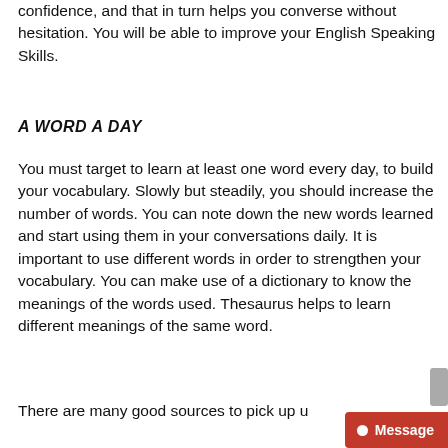confidence, and that in turn helps you converse without hesitation. You will be able to improve your English Speaking Skills.
A WORD A DAY
You must target to learn at least one word every day, to build your vocabulary. Slowly but steadily, you should increase the number of words. You can note down the new words learned and start using them in your conversations daily. It is important to use different words in order to strengthen your vocabulary. You can make use of a dictionary to know the meanings of the words used. Thesaurus helps to learn different meanings of the same word.
There are many good sources to pick up u... new words like news, tv shows, debates, and rhymes...